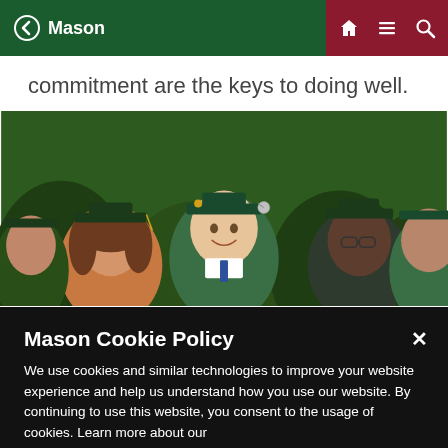Mason
commitment are the keys to doing well.
[Figure (photo): Group of smiling graduates in green caps and gowns at a graduation ceremony]
Mason Cookie Policy
We use cookies and similar technologies to improve your website experience and help us understand how you use our website. By continuing to use this website, you consent to the usage of cookies. Learn more about our Cookie Policy
Cookie Preferences
Accept Cookies